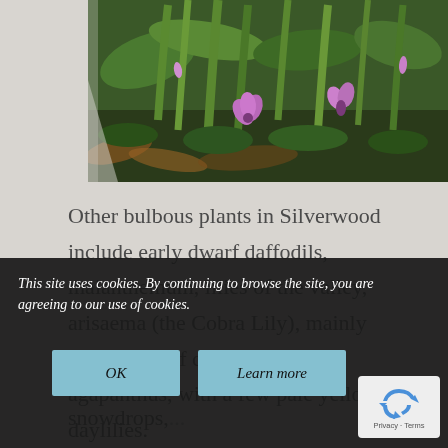[Figure (photo): Photograph of purple/pink flowering bulbous plants with green foliage in a garden setting (Silverwood garden), showing small cyclamen-like flowers]
Other bulbous plants in Silverwood include early dwarf daffodils, maianthemum, lilies of the valley, arisaema (the Cobra Lily), mainly blue forms of camassia and agapanthus, with a few pale yellow daylilies.
This site uses cookies. By continuing to browse the site, you are agreeing to our use of cookies.
On the R... [partially obscured] ...ntes snowdrops, [partially obscured] ...ies tu